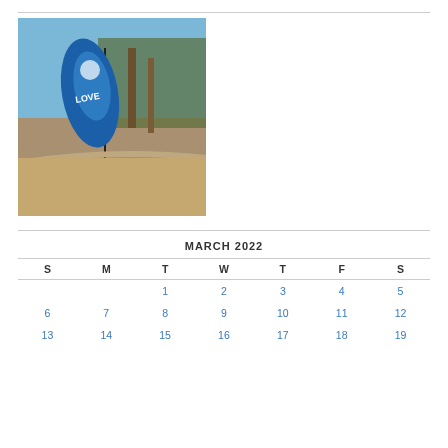[Figure (photo): A blue teardrop-shaped banner/flag on a pole with trees and blue sky in the background, outdoors in a field area.]
| S | M | T | W | T | F | S |
| --- | --- | --- | --- | --- | --- | --- |
|  |  | 1 | 2 | 3 | 4 | 5 |
| 6 | 7 | 8 | 9 | 10 | 11 | 12 |
| 13 | 14 | 15 | 16 | 17 | 18 | 19 |